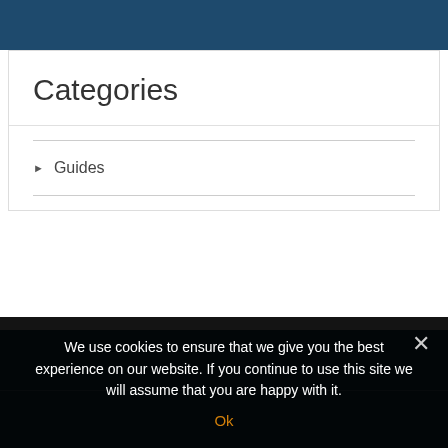Categories
Guides
We use cookies to ensure that we give you the best experience on our website. If you continue to use this site we will assume that you are happy with it.
Ok